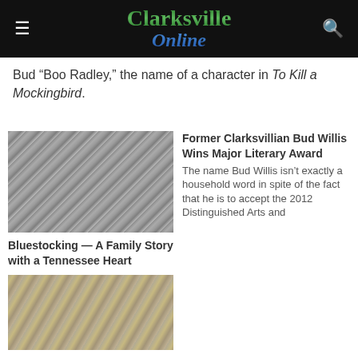Clarksville Online
Bud “Boo Radley,” the name of a character in To Kill a Mockingbird.
[Figure (photo): Black and white photo of two people standing outdoors in front of a building with a fence]
Bluestocking — A Family Story with a Tennessee Heart
Former Clarksvillian Bud Willis Wins Major Literary Award
The name Bud Willis isn’t exactly a household word in spite of the fact that he is to accept the 2012 Distinguished Arts and
[Figure (photo): Color photo of two older men standing together indoors, one wearing a tan jacket]